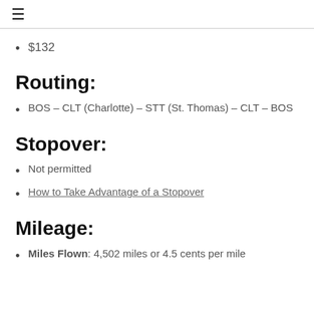≡
$132
Routing:
BOS – CLT (Charlotte) – STT (St. Thomas) – CLT – BOS
Stopover:
Not permitted
How to Take Advantage of a Stopover
Mileage:
Miles Flown: 4,502 miles or 4.5 cents per mile